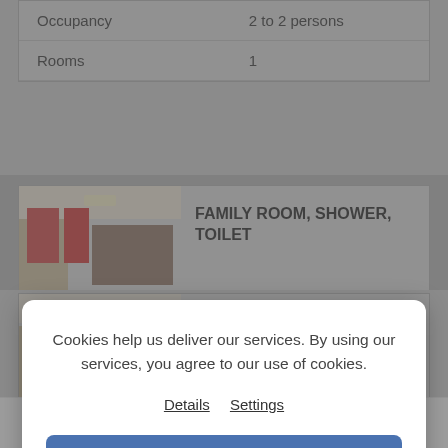| Occupancy | 2 to 2 persons |
| Rooms | 1 |
[Figure (photo): Hotel family room photo showing bunk beds and red curtains]
FAMILY ROOM, SHOWER, TOILET
Cookies help us deliver our services. By using our services, you agree to our use of cookies.
Details   Settings
OK
[Figure (photo): Hotel family room photo showing bunk beds and red curtains]
FAMILY ROOM, SHOWER, TOILET
Search